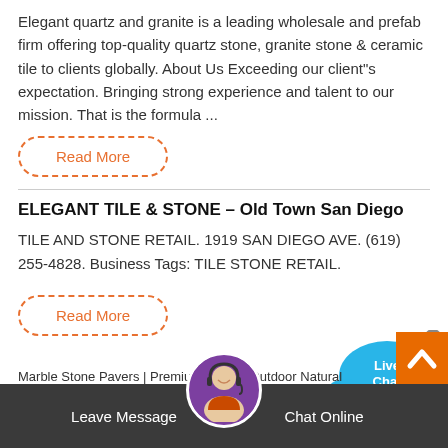Elegant quartz and granite is a leading wholesale and prefab firm offering top-quality quartz stone, granite stone & ceramic tile to clients globally. About Us Exceeding our client"s expectation. Bringing strong experience and talent to our mission. That is the formula ...
Read More
[Figure (illustration): Live Chat speech bubble icon with blue color and X close button]
ELEGANT TILE & STONE – Old Town San Diego
TILE AND STONE RETAIL. 1919 SAN DIEGO AVE. (619) 255-4828. Business Tags: TILE STONE RETAIL.
Read More
[Figure (illustration): Orange back-to-top arrow button (chevron up)]
Leave Message   Chat Online
Marble Stone Pavers | Premium Quality Outdoor Natural